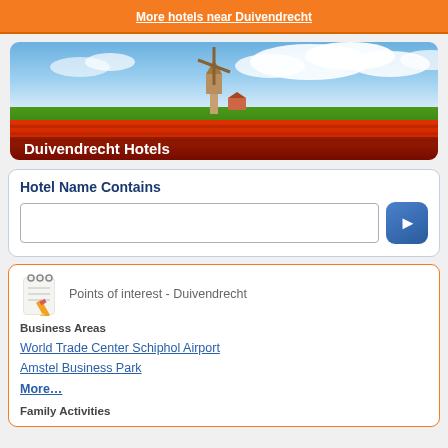More hotels near Duivendrecht
[Figure (photo): Dutch windmill and tulip field landscape photo with text 'Duivendrecht Hotels' overlaid at bottom left]
Hotel Name Contains
[Search input field with arrow button]
Points of interest - Duivendrecht
Business Areas
World Trade Center Schiphol Airport
Amstel Business Park
More…
Family Activities